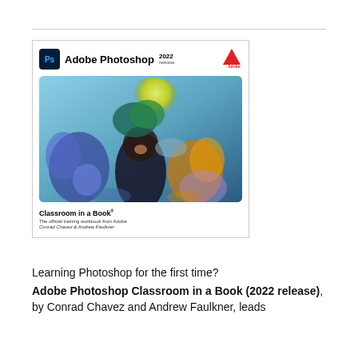[Figure (illustration): Book cover of Adobe Photoshop Classroom in a Book 2022 release, showing a woman in elaborate colorful floral costume with a glowing yellow orb behind her on a blue background. Cover includes the Ps icon, Adobe logo, product name, 'Classroom in a Book' text, subtitle 'The official training workbook from Adobe', and authors Conrad Chavez & Andrew Faulkner.]
Learning Photoshop for the first time? Adobe Photoshop Classroom in a Book (2022 release), by Conrad Chavez and Andrew Faulkner, leads